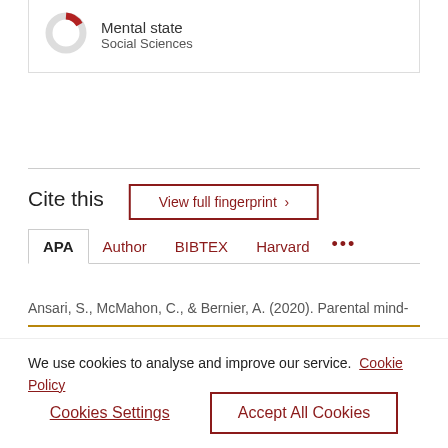[Figure (donut-chart): Partial donut chart icon for 'Mental state' in Social Sciences category]
Mental state
Social Sciences
View full fingerprint >
Cite this
APA  Author  BIBTEX  Harvard  ...
Ansari, S., McMahon, C., & Bernier, A. (2020). Parental mind-
We use cookies to analyse and improve our service.  Cookie Policy
Cookies Settings
Accept All Cookies